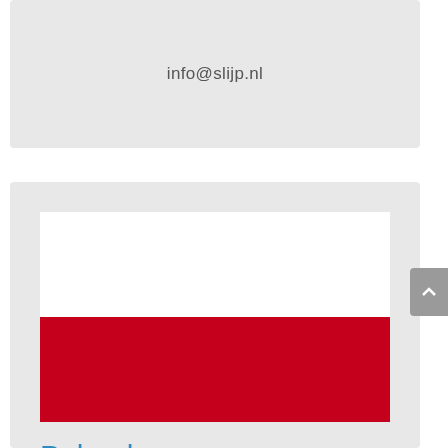info@slijp.nl
[Figure (illustration): Polish flag: white top half and red bottom half]
Poland
Vollmer Polska Sp.z o.o
Mr. Marcin Kurcon